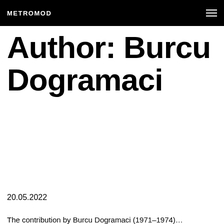METROMOD
Author: Burcu Dogramaci
20.05.2022
The contribution by Burcu Dogramaci (1971–1974)...